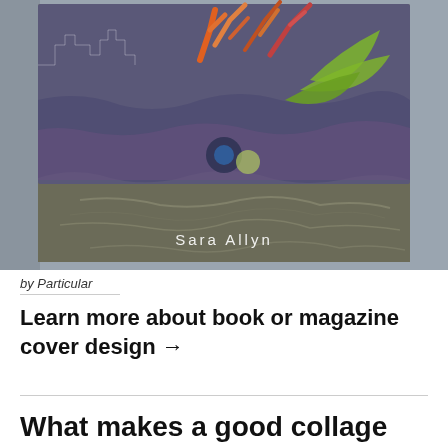[Figure (photo): A book titled 'Sara Allyn' with a collage cover featuring coral/seaweed shapes in orange, red, and green on a rocky stone-textured background, photographed at an angle on a grey surface.]
by Particular
Learn more about book or magazine cover design →
What makes a good collage